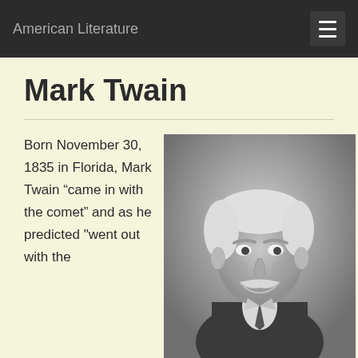American Literature
Mark Twain
Born November 30, 1835 in Florida, Mark Twain “came in with the comet” and as he predicted “went out with the
[Figure (photo): Black and white portrait photograph of Mark Twain, an elderly man with white hair and a mustache, wearing a suit and tie, looking to the side.]